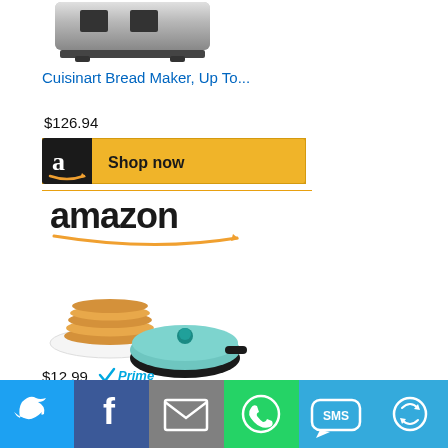[Figure (photo): Cuisinart Bread Maker product image (stainless steel appliance)]
Cuisinart Bread Maker, Up To...
$126.94
[Figure (other): Amazon Shop now button with golden background]
[Figure (logo): Amazon logo with orange arrow]
[Figure (photo): DASH Mini Maker Electric product image - teal mini pancake maker with pancakes on a plate]
DASH Mini Maker Electric...
$12.99
[Figure (logo): Amazon Prime logo checkmark]
[Figure (other): Amazon Shop now button with golden background]
[Figure (infographic): Share bar with Twitter, Facebook, Email, WhatsApp, SMS, and More buttons]